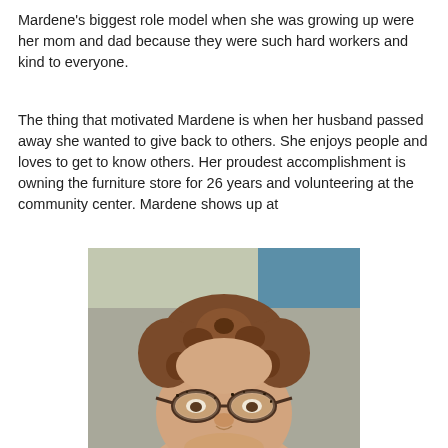Mardene's biggest role model when she was growing up were her mom and dad because they were such hard workers and kind to everyone.
The thing that motivated Mardene is when her husband passed away she wanted to give back to others. She enjoys people and loves to get to know others. Her proudest accomplishment is owning the furniture store for 26 years and volunteering at the community center. Mardene shows up at
[Figure (photo): Portrait photo of an elderly woman with short curly brown hair, wearing patterned glasses, looking upward slightly. Background is blurred with hints of blue and green.]